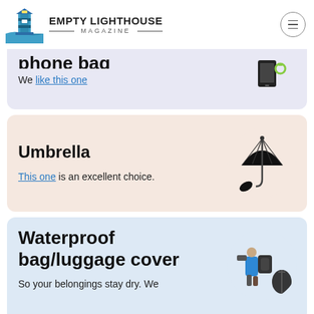Empty Lighthouse Magazine
phone bag
We like this one
Umbrella
This one is an excellent choice.
Waterproof bag/luggage cover
So your belongings stay dry. We